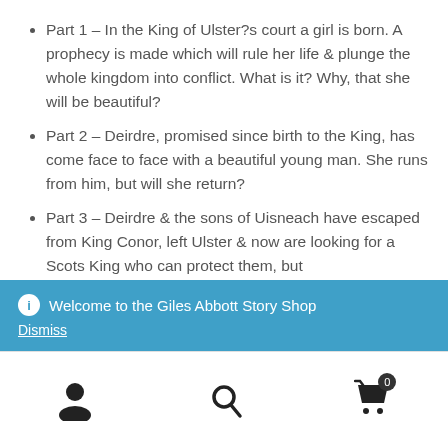Part 1 – In the King of Ulster?s court a girl is born. A prophecy is made which will rule her life & plunge the whole kingdom into conflict. What is it? Why, that she will be beautiful?
Part 2 – Deirdre, promised since birth to the King, has come face to face with a beautiful young man. She runs from him, but will she return?
Part 3 – Deirdre & the sons of Uisneach have escaped from King Conor, left Ulster & now are looking for a Scots King who can protect them, but
Welcome to the Giles Abbott Story Shop
Dismiss